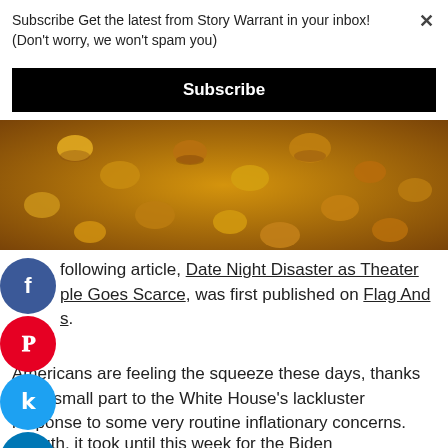Subscribe Get the latest from Story Warrant in your inbox! (Don't worry, we won't spam you)
Subscribe
[Figure (photo): Close-up photo of popcorn kernels or dried corn, golden-brown in color]
following article, Date Night Disaster as Theater ple Goes Scarce, was first published on Flag And s.
Americans are feeling the squeeze these days, thanks in no small part to the White House's lackluster response to some very routine inflationary concerns.
In truth, it took until this week for the Biden administration to even admit that there were